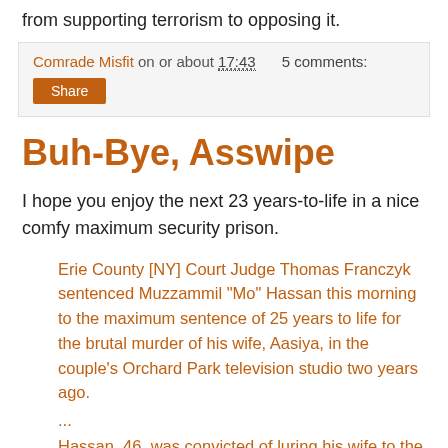from supporting terrorism to opposing it.
Comrade Misfit on or about 17:43    5 comments:
Share
Buh-Bye, Asswipe
I hope you enjoy the next 23 years-to-life in a nice comfy maximum security prison.
Erie County [NY] Court Judge Thomas Franczyk sentenced Muzzammil "Mo" Hassan this morning to the maximum sentence of 25 years to life for the brutal murder of his wife, Aasiya, in the couple's Orchard Park television studio two years ago.
...
Hassan, 46, was convicted of luring his wife to the couple's Orchard Park television studio on Feb. 12, 2009, then coming upon her from behind